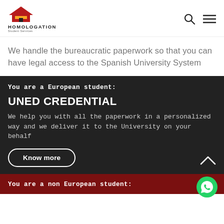[Figure (logo): Homologation Student Services logo with house/graduation cap icon in red and yellow]
We handle the bureaucratic paperwork so that you can have legal access to the Spanish University System
You are a European student:
UNED CREDENTIAL
We help you with all the paperwork in a personalized way and we deliver it to the University on your behalf
Know more
You are a non European student: